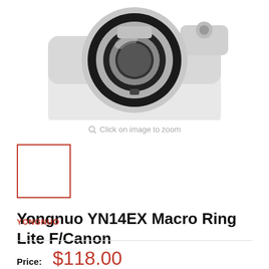[Figure (photo): Yongnuo YN14EX Macro Ring Lite flash attached to a white DSLR camera, viewed from the front. The circular ring flash is prominent with black and silver details.]
Click on image to zoom
[Figure (photo): Small thumbnail image of the Yongnuo YN14EX Macro Ring Lite, selected (shown with red border).]
Yongnuo YN14EX Macro Ring Lite F/Canon
YONGNUO
Price: $118.00